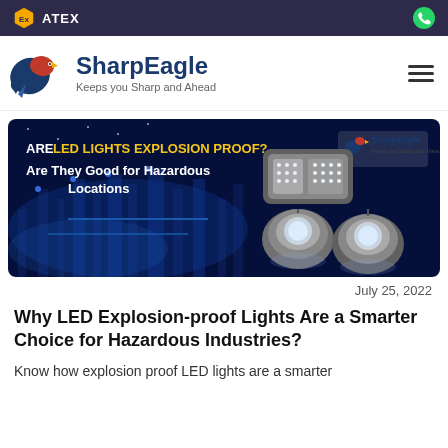ATEX
[Figure (logo): SharpEagle logo with eagle graphic and tagline 'Keeps you Sharp and Ahead']
[Figure (illustration): Banner image: 'ARE LED LIGHTS EXPLOSION PROOF? Are They Good for Hazardous Locations' on industrial background with LED explosion-proof lights shown on right, SharpEagle logo in top right corner]
July 25, 2022
Why LED Explosion-proof Lights Are a Smarter Choice for Hazardous Industries?
Know how explosion proof LED lights are a smarter